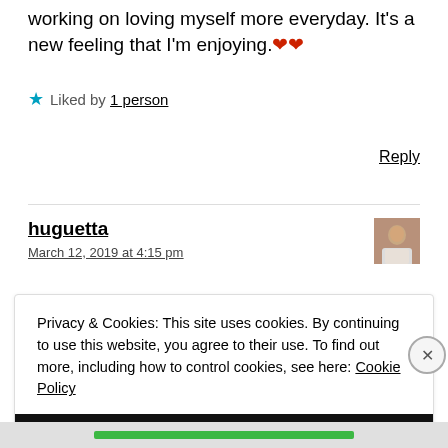working on loving myself more everyday. It's a new feeling that I'm enjoying. ❤️❤️
★ Liked by 1 person
Reply
huguetta
March 12, 2019 at 4:15 pm
Privacy & Cookies: This site uses cookies. By continuing to use this website, you agree to their use. To find out more, including how to control cookies, see here: Cookie Policy
Close and accept